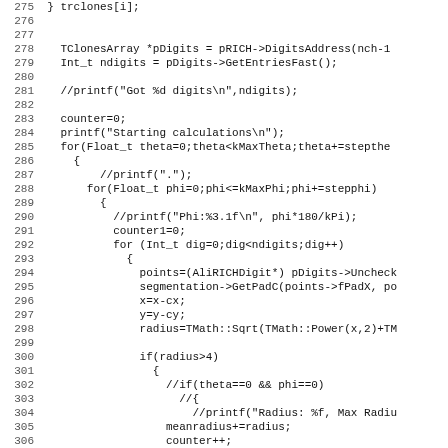Source code listing, lines 275-307